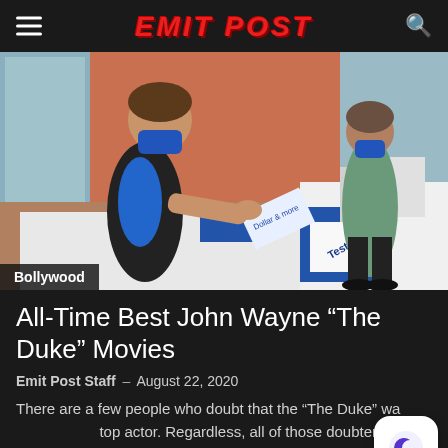EMIT POST
[Figure (photo): Two people at a COVID-19 test site table. One person wearing a blue mask and dark clothing is reaching across the white table. A second person in a gray top and black pants stands in background. The table has a 'Test Site' sign and testing materials. A blue cooler is visible.]
Bollywood
All-Time Best John Wayne “The Duke” Movies
Emit Post Staff – August 22, 2020
There are a few people who doubt that the “The Duke” was top actor. Regardless, all of those doubters would stand